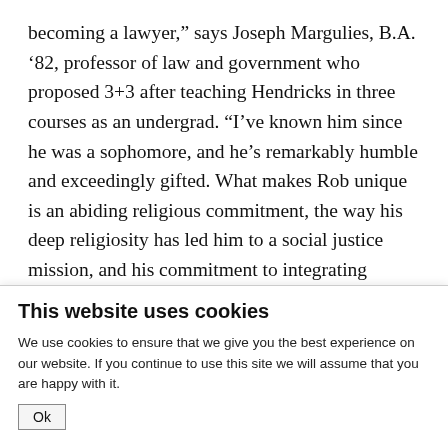becoming a lawyer,” says Joseph Margulies, B.A. ’82, professor of law and government who proposed 3+3 after teaching Hendricks in three courses as an undergrad. “I’ve known him since he was a sophomore, and he’s remarkably humble and exceedingly gifted. What makes Rob unique is an abiding religious commitment, the way his deep religiosity has led him to a social justice mission, and his commitment to integrating religion into his life as a lawyer.”

Growing up in Rocky River, a well-to-do suburb of Cleveland, Hendricks was a teenager when he started
This website uses cookies
We use cookies to ensure that we give you the best experience on our website. If you continue to use this site we will assume that you are happy with it.